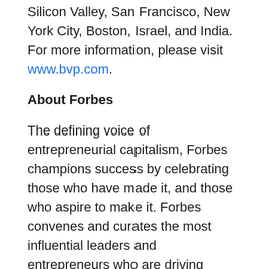Silicon Valley, San Francisco, New York City, Boston, Israel, and India. For more information, please visit www.bvp.com.
About Forbes
The defining voice of entrepreneurial capitalism, Forbes champions success by celebrating those who have made it, and those who aspire to make it. Forbes convenes and curates the most influential leaders and entrepreneurs who are driving change, transforming business and making a significant impact on the world. The Forbes brand today reaches more than 160 million people worldwide through its trusted journalism, signature LIVE and Forbes Virtual events, custom marketing programs and 40 licensed local editions in 70 countries. Forbes Media's brand extensions include real estate, education and